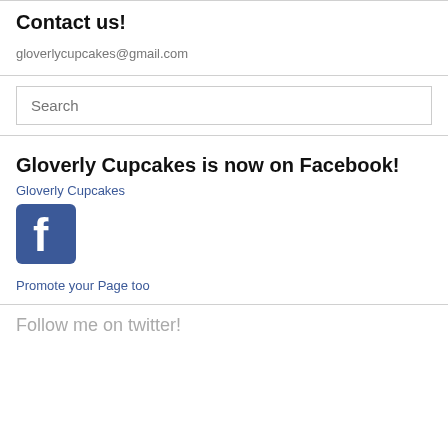Contact us!
gloverlycupcakes@gmail.com
[Figure (other): Search input box with placeholder text 'Search']
Gloverly Cupcakes is now on Facebook!
Gloverly Cupcakes
[Figure (logo): Facebook logo icon — blue square with white 'f']
Promote your Page too
Follow me on twitter!